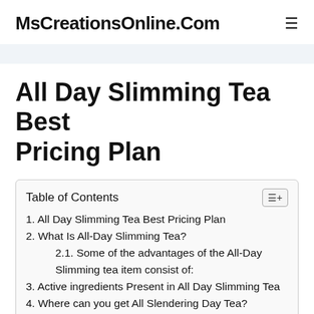MsCreationsOnline.Com
All Day Slimming Tea Best Pricing Plan
Table of Contents
1. All Day Slimming Tea Best Pricing Plan
2. What Is All-Day Slimming Tea?
2.1. Some of the advantages of the All-Day Slimming tea item consist of:
3. Active ingredients Present in All Day Slimming Tea
4. Where can you get All Slendering Day Tea?